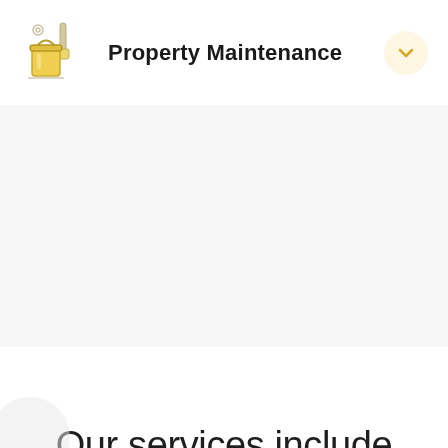[Figure (illustration): Property maintenance icon: a yellow paint bucket with a paintbrush, and a small circular target/bullseye icon above]
Property Maintenance
[Figure (illustration): Chevron/dropdown arrow icon in a circular beige button, indicating collapsible section]
Our services include